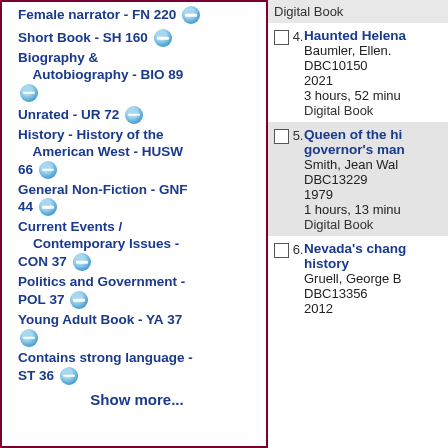Female narrator - FN 220
Short Book - SH 160
Biography & Autobiography - BIO 89
Unrated - UR 72
History - History of the American West - HUSW 66
General Non-Fiction - GNF 44
Current Events / Contemporary Issues - CON 37
Politics and Government - POL 37
Young Adult Book - YA 37
Contains strong language - ST 36
Show more...
Digital Book
4. Haunted Helena
Baumler, Ellen.
DBC10150
2021
3 hours, 52 minu
Digital Book
5. Queen of the hi governor's man
Smith, Jean Wal
DBC13229
1979
1 hours, 13 minu
Digital Book
6. Nevada's chang history
Gruell, George B
DBC13356
2012